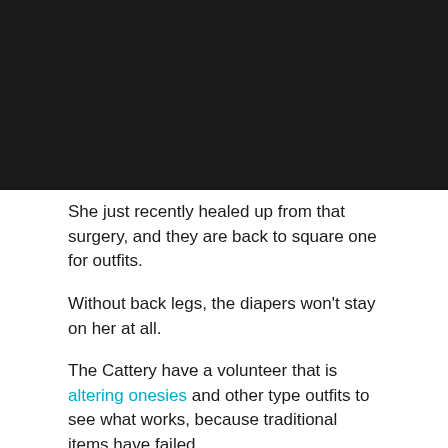[Figure (photo): Black/dark image, likely a photo of a cat or animal that is mostly black in color or taken in low light.]
She just recently healed up from that surgery, and they are back to square one for outfits.
Without back legs, the diapers won't stay on her at all.
The Cattery have a volunteer that is altering onesies and other type outfits to see what works, because traditional items have failed.